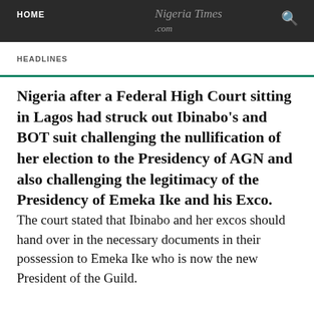HOME | Nigeria Times .com | HEADLINES
Nigeria after a Federal High Court sitting in Lagos had struck out Ibinabo’s and BOT suit challenging the nullification of her election to the Presidency of AGN and also challenging the legitimacy of the Presidency of Emeka Ike and his Exco.
The court stated that Ibinabo and her excos should hand over in the necessary documents in their possession to Emeka Ike who is now the new President of the Guild.